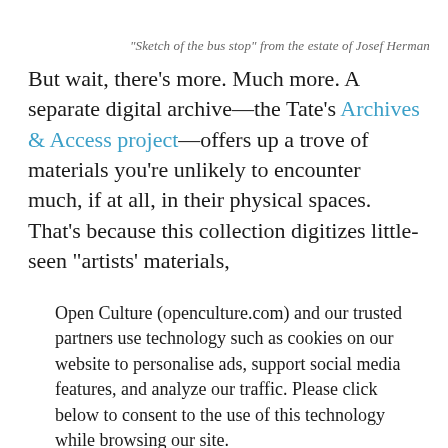“Sketch of the bus stop” from the estate of Josef Herman
But wait, there’s more. Much more. A separate digital archive—the Tate’s Archives & Access project—offers up a trove of materials you’re unlikely to encounter much, if at all, in their physical spaces. That’s because this collection digitizes little-seen “artists’ materials,
Open Culture (openculture.com) and our trusted partners use technology such as cookies on our website to personalise ads, support social media features, and analyze our traffic. Please click below to consent to the use of this technology while browsing our site.
Cookie settings | ACCEPT